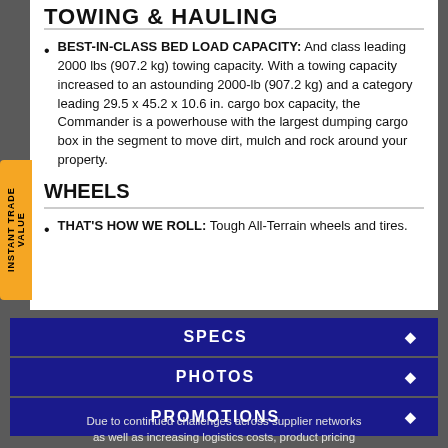TOWING & HAULING
BEST-IN-CLASS BED LOAD CAPACITY: And class leading 2000 lbs (907.2 kg) towing capacity. With a towing capacity increased to an astounding 2000-lb (907.2 kg) and a category leading 29.5 x 45.2 x 10.6 in. cargo box capacity, the Commander is a powerhouse with the largest dumping cargo box in the segment to move dirt, mulch and rock around your property.
WHEELS
THAT'S HOW WE ROLL: Tough All-Terrain wheels and tires.
SPECS
PHOTOS
PROMOTIONS
Due to continued challenges across supplier networks as well as increasing logistics costs, product pricing